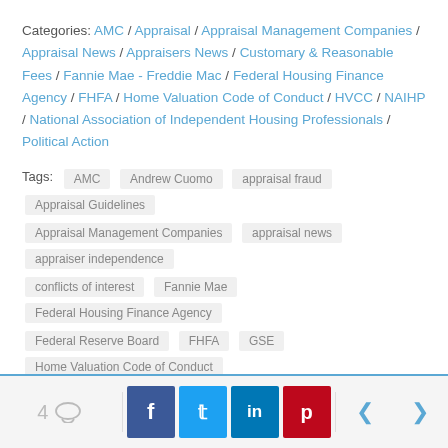Categories: AMC / Appraisal / Appraisal Management Companies / Appraisal News / Appraisers News / Customary & Reasonable Fees / Fannie Mae - Freddie Mac / Federal Housing Finance Agency / FHFA / Home Valuation Code of Conduct / HVCC / NAIHP / National Association of Independent Housing Professionals / Political Action
Tags: AMC, Andrew Cuomo, appraisal fraud, Appraisal Guidelines, Appraisal Management Companies, appraisal news, appraiser independence, conflicts of interest, Fannie Mae, Federal Housing Finance Agency, Federal Reserve Board, FHFA, GSE, Home Valuation Code of Conduct, HVCC, Interim Final Rule, NAIHP, National Associaion of Independent Housing Professionals, unintended consequences
4 comments | Share on Facebook, Twitter, LinkedIn, Pinterest | Navigation arrows